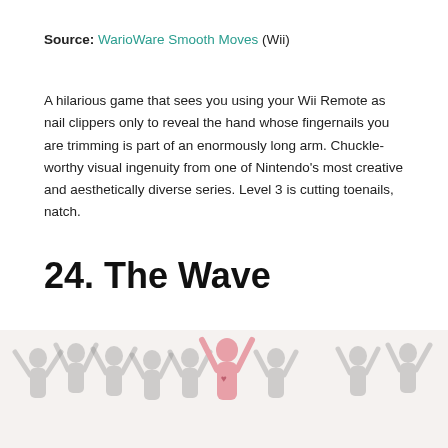Source: WarioWare Smooth Moves (Wii)
A hilarious game that sees you using your Wii Remote as nail clippers only to reveal the hand whose fingernails you are trimming is part of an enormously long arm. Chuckle-worthy visual ingenuity from one of Nintendo's most creative and aesthetically diverse series. Level 3 is cutting toenails, natch.
24. The Wave
[Figure (illustration): Crowd of stylized human silhouette figures doing the wave, shown from waist up with arms raised, mostly in gray with one figure in pink in the center, partially cropped at bottom of page.]